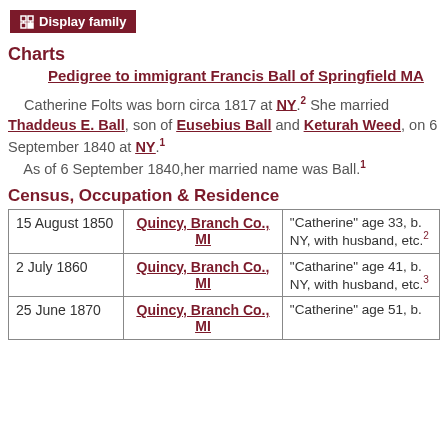[Figure (other): Display family button with icon]
Charts
Pedigree to immigrant Francis Ball of Springfield MA
Catherine Folts was born circa 1817 at NY.2 She married Thaddeus E. Ball, son of Eusebius Ball and Keturah Weed, on 6 September 1840 at NY.1
As of 6 September 1840,her married name was Ball.1
Census, Occupation & Residence
| Date | Location | Notes |
| --- | --- | --- |
| 15 August 1850 | Quincy, Branch Co., MI | "Catherine" age 33, b. NY, with husband, etc.2 |
| 2 July 1860 | Quincy, Branch Co., MI | "Catharine" age 41, b. NY, with husband, etc.3 |
| 25 June 1870 | Quincy, Branch Co., MI | "Catherine" age 51, b... |